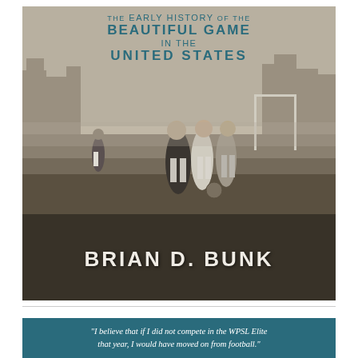[Figure (photo): Book cover showing a sepia-toned historical photograph of soccer players on a muddy field with buildings in the background. Title text 'The Early History of the Beautiful Game in the United States' appears at top in teal. Author name 'Brian D. Bunk' appears at bottom in white.]
"I believe that if I did not compete in the WPSL Elite that year, I would have moved on from football."